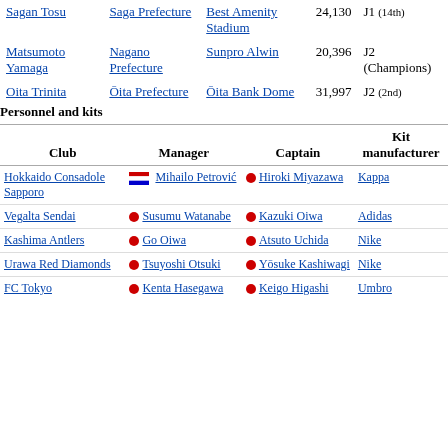| Club | Location | Stadium | Capacity | Division |
| --- | --- | --- | --- | --- |
| Sagan Tosu | Saga Prefecture | Best Amenity Stadium | 24,130 | J1 (14th) |
| Matsumoto Yamaga | Nagano Prefecture | Sunpro Alwin | 20,396 | J2 (Champions) |
| Oita Trinita | Ōita Prefecture | Ōita Bank Dome | 31,997 | J2 (2nd) |
Personnel and kits
| Club | Manager | Captain | Kit manufacturer |
| --- | --- | --- | --- |
| Hokkaido Consadole Sapporo | Mihailo Petrović | Hiroki Miyazawa | Kappa |
| Vegalta Sendai | Susumu Watanabe | Kazuki Oiwa | Adidas |
| Kashima Antlers | Go Oiwa | Atsuto Uchida | Nike |
| Urawa Red Diamonds | Tsuyoshi Otsuki | Yōsuke Kashiwagi | Nike |
| FC Tokyo | Kenta Hasegawa | Keigo Higashi | Umbro |